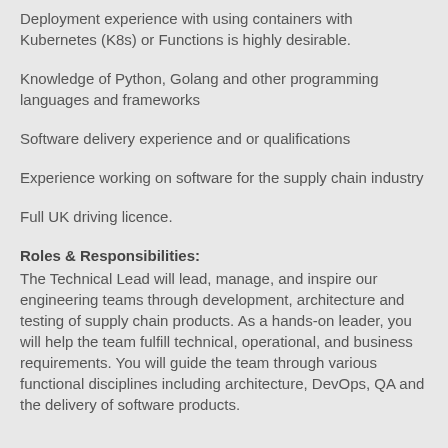Deployment experience with using containers with Kubernetes (K8s) or Functions is highly desirable.
Knowledge of Python, Golang and other programming languages and frameworks
Software delivery experience and or qualifications
Experience working on software for the supply chain industry
Full UK driving licence.
Roles & Responsibilities:
The Technical Lead will lead, manage, and inspire our engineering teams through development, architecture and testing of supply chain products. As a hands-on leader, you will help the team fulfill technical, operational, and business requirements. You will guide the team through various functional disciplines including architecture, DevOps, QA and the delivery of software products.